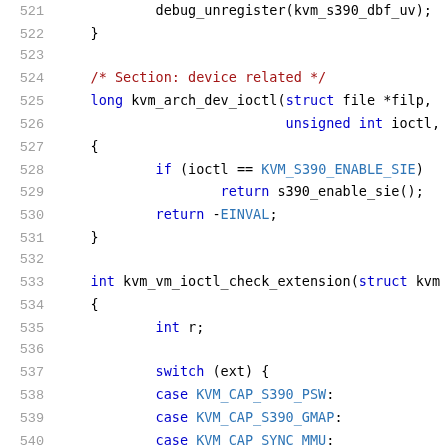[Figure (screenshot): Source code listing lines 521–541 of a Linux KVM s390 kernel file, showing C code with syntax highlighting. Lines include debug_unregister call, kvm_arch_dev_ioctl function, kvm_vm_ioctl_check_extension function, switch statement with KVM_CAP cases, and a #ifdef preprocessor directive.]